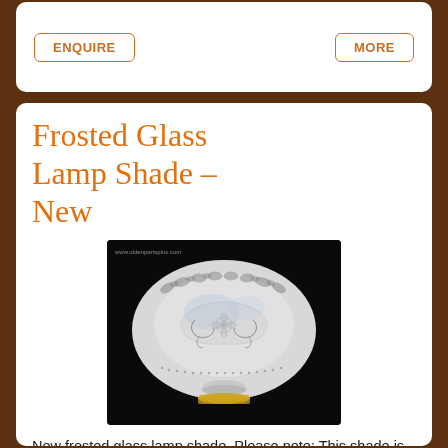ENQUIRE
MORE
Frosted Glass Lamp Shade – New
[Figure (photo): A frosted glass lamp shade with intricate etched floral and scroll patterns, photographed against a black background, with a gold base ring.]
New frosted glass lamp shade. Please note: This shade is currently out of stock but is available by special order with approximately 7 days lead...
AU$59 Sold on 27th Jan